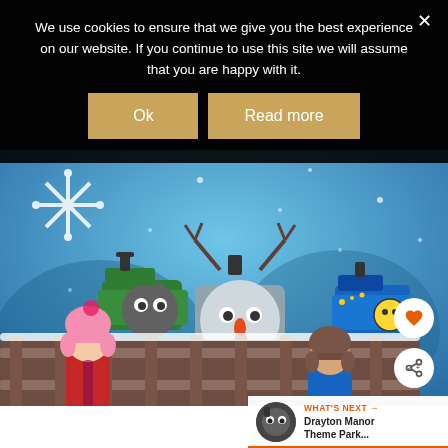We use cookies to ensure that we give you the best experience on our website. If you continue to use this site we will assume that you are happy with it.
[Figure (screenshot): Cookie consent dialog with Ok and Read more buttons on dark overlay, above a photo of two children in winter hats standing in front of cartoon Thomas the Tank Engine characters (Percy and a snowman-faced train) against a snowy blue backdrop. A heart button and share button appear on the right side. A 'What's Next' bar at bottom right shows a Thomas thumbnail and text 'Drayton Manor Theme Park...']